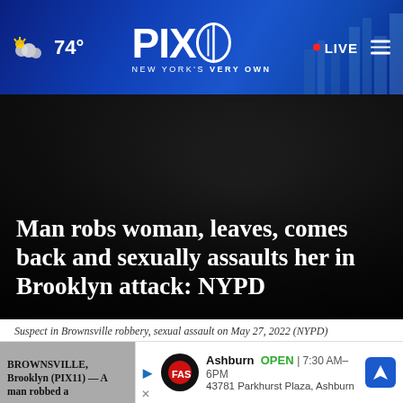PIX11 - NEW YORK'S VERY OWN | 74° | LIVE
Man robs woman, leaves, comes back and sexually assaults her in Brooklyn attack: NYPD
Suspect in Brownsville robbery, sexual assault on May 27, 2022 (NYPD)
by: Aliza Chasan
Posted: May 29, 2022 / 08:42 AM EDT
Updated: May 29, 2022 / 08:42 AM EDT
SHARE
[Figure (other): Advertisement banner for Firestone Auto in Ashburn, showing OPEN 7:30AM-6PM, 43781 Parkhurst Plaza, Ashburn]
BROWNSVILLE, Brooklyn (PIX11) — A man robbed a